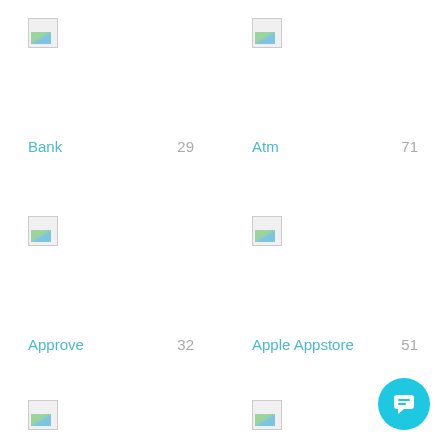[Figure (illustration): Icon placeholder for Bank]
Bank 29
[Figure (illustration): Icon placeholder for Atm]
Atm 71
[Figure (illustration): Icon placeholder for Approve]
Approve 32
[Figure (illustration): Icon placeholder for Apple Appstore]
Apple Appstore 51
[Figure (illustration): Icon placeholder bottom-left (partial)]
[Figure (illustration): Icon placeholder bottom-right (partial)]